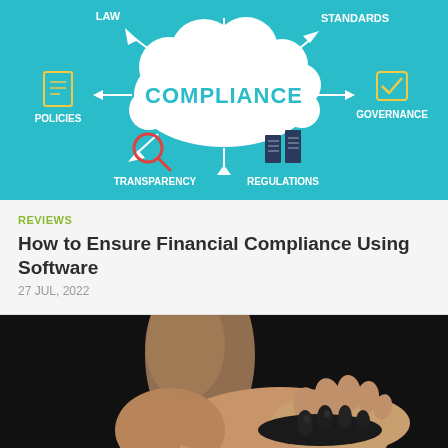[Figure (infographic): Compliance infographic on teal background showing a cloud shape with 'COMPLIANCE' text in the center, surrounded by icons and labels: LAW (top left), STANDARDS (top right), POLICIES (left with document icon), GOVERNANCE (right with checkmark icon), TRANSPARENCY (bottom left with magnifying glass icon), REGULATIONS (bottom center with binder icons). White arrows point outward from the cloud.]
REVIEWS
How to Ensure Financial Compliance Using Software
27 JUL, 2022
[Figure (photo): Close-up photo of a human foot/toes gripping a black rubber toe separator or exercise device, on a dark background.]